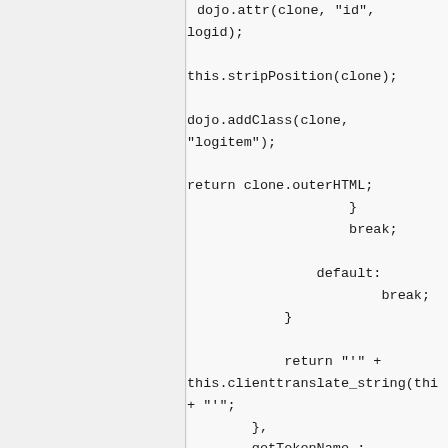[Figure (screenshot): Code snippet showing JavaScript with dojo.attr, stripPosition, addClass, return clone.outerHTML, break, default, break, return with clienttranslate_string, getTokenName function]